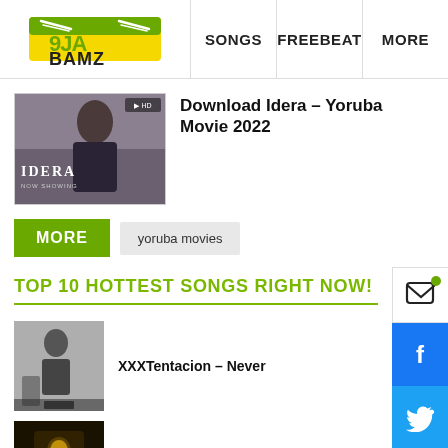[Figure (logo): 9JaBamz logo with green bird/music icon]
SONGS   FREEBEAT   MORE
Download Idera – Yoruba Movie 2022
[Figure (photo): Movie thumbnail for Idera Yoruba Movie showing a person with text IDERA NOW SHOWING]
MORE
yoruba movies
TOP 10 HOTTEST SONGS RIGHT NOW!
[Figure (photo): Grayscale photo of XXXTentacion]
XXXTentacion – Never
[Figure (photo): Dark photo of NBA YoungBoy]
NBA YoungBoy – Vette Motors